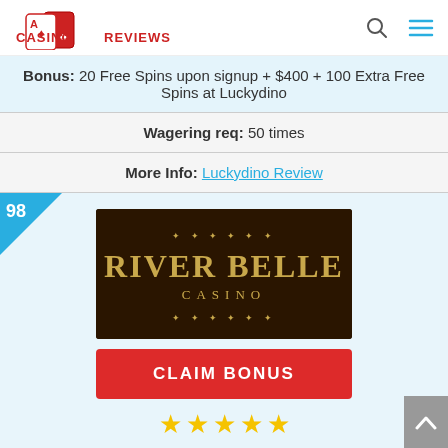CASINO REVIEWS
| Bonus: 20 Free Spins upon signup + $400 + 100 Extra Free Spins at Luckydino |
| Wagering req: 50 times |
| More Info: Luckydino Review |
[Figure (logo): River Belle Casino logo — dark brown background with gold text 'RIVER BELLE CASINO']
CLAIM BONUS
[Figure (other): 5 gold stars rating]